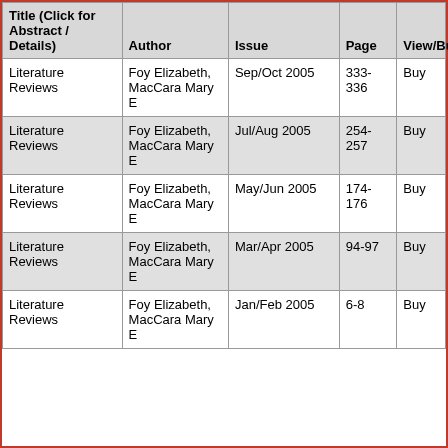| Title (Click for Abstract / Details) | Author | Issue | Page | View/Buy |
| --- | --- | --- | --- | --- |
| Literature Reviews | Foy Elizabeth, MacCara Mary E | Sep/Oct 2005 | 333-336 | Buy |
| Literature Reviews | Foy Elizabeth, MacCara Mary E | Jul/Aug 2005 | 254-257 | Buy |
| Literature Reviews | Foy Elizabeth, MacCara Mary E | May/Jun 2005 | 174-176 | Buy |
| Literature Reviews | Foy Elizabeth, MacCara Mary E | Mar/Apr 2005 | 94-97 | Buy |
| Literature Reviews | Foy Elizabeth, MacCara Mary E | Jan/Feb 2005 | 6-8 | Buy |